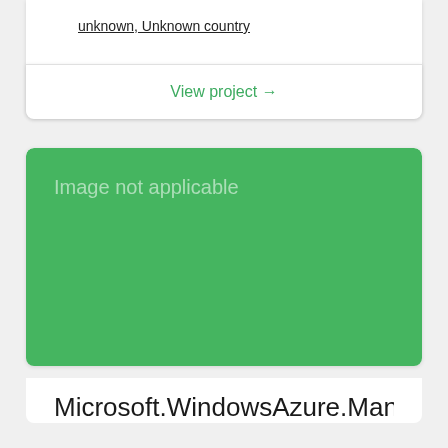unknown, Unknown country
View project →
[Figure (other): Green placeholder box with text 'Image not applicable']
Microsoft.WindowsAzure.Manag